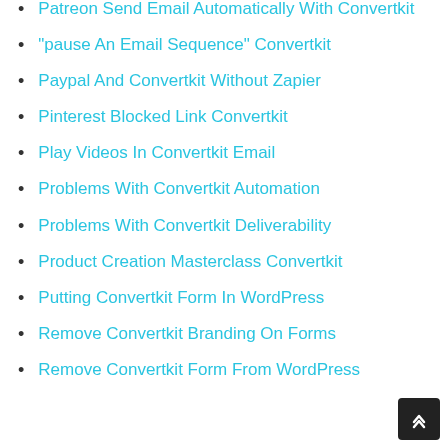Patreon Send Email Automatically With Convertkit
"pause An Email Sequence" Convertkit
Paypal And Convertkit Without Zapier
Pinterest Blocked Link Convertkit
Play Videos In Convertkit Email
Problems With Convertkit Automation
Problems With Convertkit Deliverability
Product Creation Masterclass Convertkit
Putting Convertkit Form In WordPress
Remove Convertkit Branding On Forms
Remove Convertkit Form From WordPress